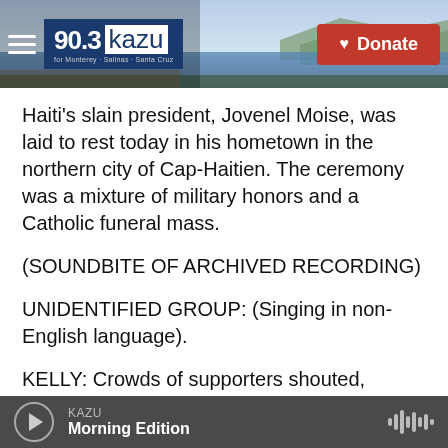[Figure (screenshot): KAZU 90.3 radio station header banner with landscape background photo (ocean/coast scene), hamburger menu icon, KAZU 90.3 logo in blue box, and red Donate button with heart icon]
Haiti's slain president, Jovenel Moise, was laid to rest today in his hometown in the northern city of Cap-Haitien. The ceremony was a mixture of military honors and a Catholic funeral mass.
(SOUNDBITE OF ARCHIVED RECORDING)
UNIDENTIFIED GROUP: (Singing in non-English language).
KELLY: Crowds of supporters shouted, justice, near the family plot, where the ceremony took place. And when the proceedings were disrupted by
KAZU  Morning Edition